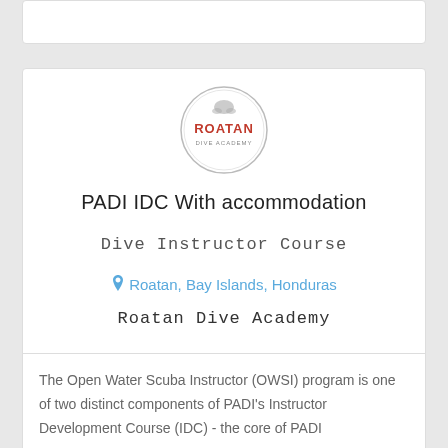[Figure (logo): Roatan Dive Academy circular logo with red text and diver silhouette]
PADI IDC With accommodation
Dive Instructor Course
Roatan, Bay Islands, Honduras
Roatan Dive Academy
The Open Water Scuba Instructor (OWSI) program is one of two distinct components of PADI's Instructor Development Course (IDC) - the core of PADI